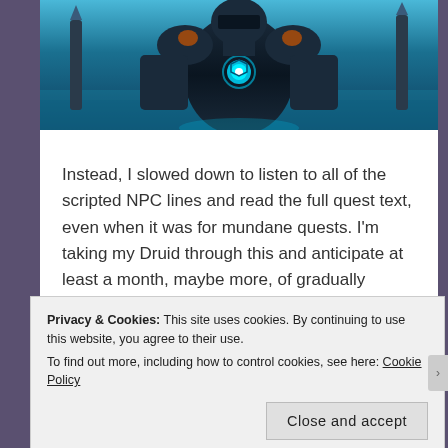[Figure (screenshot): Screenshot from a video game (World of Warcraft) showing a dark armored figure in blue/teal colors against a blue background]
Instead, I slowed down to listen to all of the scripted NPC lines and read the full quest text, even when it was for mundane quests. I'm taking my Druid through this and anticipate at least a month, maybe more, of gradually getting to 60 and through all of the zone stories while pursuing whatever side objectives that I desire.
Privacy & Cookies: This site uses cookies. By continuing to use this website, you agree to their use.
To find out more, including how to control cookies, see here: Cookie Policy
Close and accept
PRINT THIS >